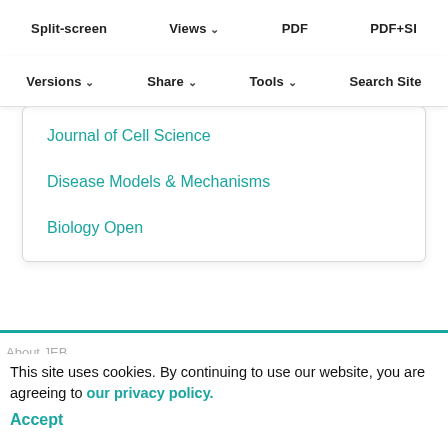Split-screen   Views   PDF   PDF+SI
Versions   Share   Tools   Search Site
Other journals from The Company of Biologists
Development
Journal of Cell Science
Disease Models & Mechanisms
Biology Open
About JEB
Editors and Board
Aims and Scope
Submit a manuscript
This site uses cookies. By continuing to use our website, you are agreeing to our privacy policy.
Accept